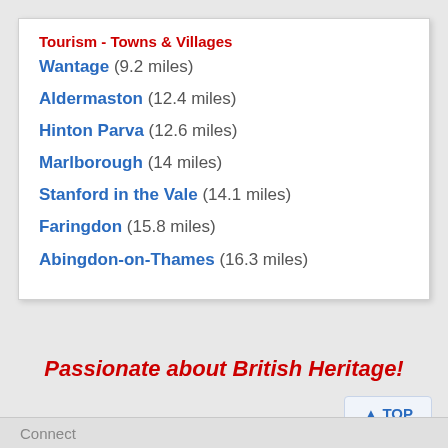Tourism - Towns & Villages
Wantage (9.2 miles)
Aldermaston (12.4 miles)
Hinton Parva (12.6 miles)
Marlborough (14 miles)
Stanford in the Vale (14.1 miles)
Faringdon (15.8 miles)
Abingdon-on-Thames (16.3 miles)
Passionate about British Heritage!
Connect